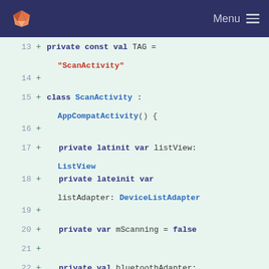GitLab header with Menu
[Figure (screenshot): GitLab logo (fox icon) on dark navy header bar with Menu text and hamburger icon on the right]
13  + private const val TAG =
         "ScanActivity"
14  +
15  + class ScanActivity :
         AppCompatActivity() {
16  +
17  +     private lateinit var listView:
         ListView
18  +     private lateinit var
         listAdapter: DeviceListAdapter
19  +
20  +     private var mScanning = false
21  +
22  +     private val bluetoothAdapter:
         BluetoothAdapter? by
         lazy(LazyThreadSafetyMode.NONE) {
23  +         val bluetoothManager =
         getSystemService(Context.BLUETOOTH_S
         ERVICE) as BluetoothManager
24  +         bluetoothManager.adapter